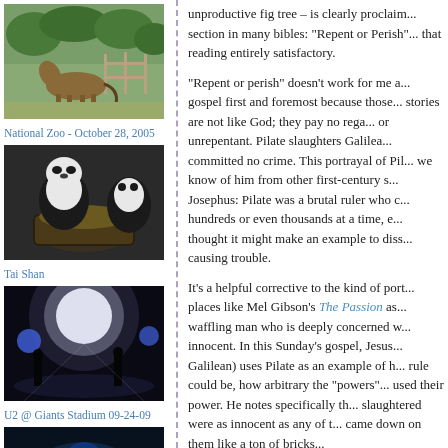[Figure (photo): Horse or similar animal at National Zoo, outdoor enclosure with trees]
National Zoo - October 28, 2005
[Figure (photo): Tai Shan the panda eating from a trough]
Tai Shan
[Figure (photo): U2 concert at Giants Stadium with bright stage lights]
U2 @ Giants Stadium 09-24-09
[Figure (photo): Concert performer on dark stage with blue lighting]
unproductive fig tree – is clearly proclaim... section in many bibles: "Repent or Perish"... that reading entirely satisfactory.
"Repent or perish" doesn't work for me a... gospel first and foremost because those... stories are not like God; they pay no rega... or unrepentant. Pilate slaughters Galilea... committed no crime. This portrayal of Pil... we know of him from other first-century s... Josephus: Pilate was a brutal ruler who c... hundreds or even thousands at a time, e... thought it might make an example to diss... causing trouble.
It's a helpful corrective to the kind of port... places like Mel Gibson's The Passion as... waffling man who is deeply concerned w... innocent. In this Sunday's gospel, Jesus... Galilean) uses Pilate as an example of h... rule could be, how arbitrary the "powers"... used their power. He notes specifically th... slaughtered were as innocent as any of t... came down on them like a ton of bricks...